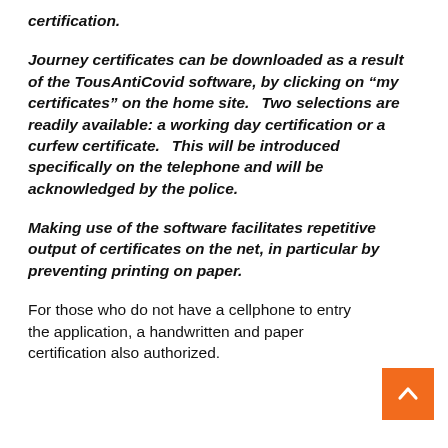certification.
Journey certificates can be downloaded as a result of the TousAntiCovid software, by clicking on “my certificates” on the home site. Two selections are readily available: a working day certification or a curfew certificate. This will be introduced specifically on the telephone and will be acknowledged by the police.
Making use of the software facilitates repetitive output of certificates on the net, in particular by preventing printing on paper.
For those who do not have a cellphone to entry the application, a handwritten and paper certification also authorized.